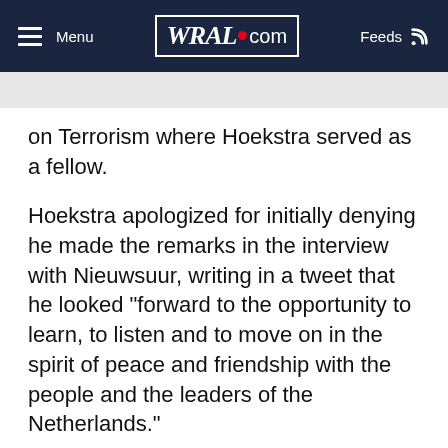Menu | WRAL.com | Feeds
on Terrorism where Hoekstra served as a fellow.
Hoekstra apologized for initially denying he made the remarks in the interview with Nieuwsuur, writing in a tweet that he looked "forward to the opportunity to learn, to listen and to move on in the spirit of peace and friendship with the people and the leaders of the Netherlands."